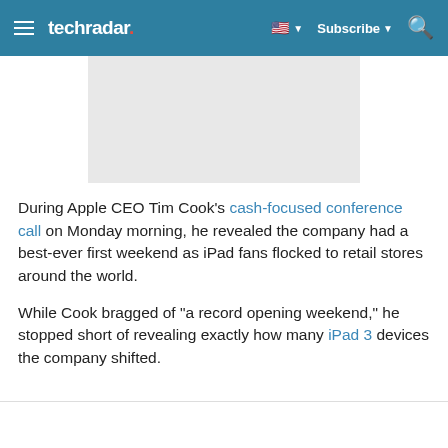techradar | Subscribe
[Figure (other): Gray placeholder image block]
During Apple CEO Tim Cook's cash-focused conference call on Monday morning, he revealed the company had a best-ever first weekend as iPad fans flocked to retail stores around the world.
While Cook bragged of "a record opening weekend," he stopped short of revealing exactly how many iPad 3 devices the company shifted.